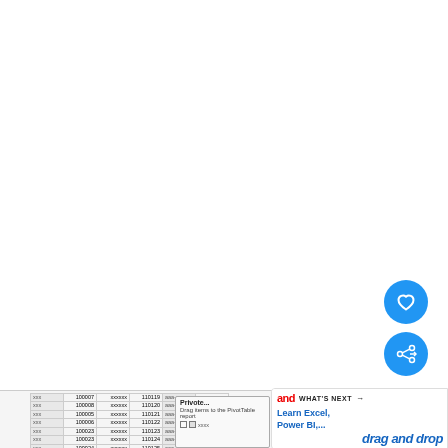[Figure (screenshot): Mostly white/blank upper portion of a tutorial page, with circular blue action buttons (heart/favorite and share) on the right side]
[Figure (screenshot): Bottom strip showing: left side has a small Excel spreadsheet with rows of data (xxx, 100007 etc. with numeric columns), middle shows a context menu with 'Consolidate...' and 'Group and Outline' items, right side shows a PivotTable panel saying 'Drag items to the PivotTable report' with a checkbox for 'xxxx', and a 'WHAT'S NEXT' banner for 'Learn Excel, Power BI,...' with drag and drop text]